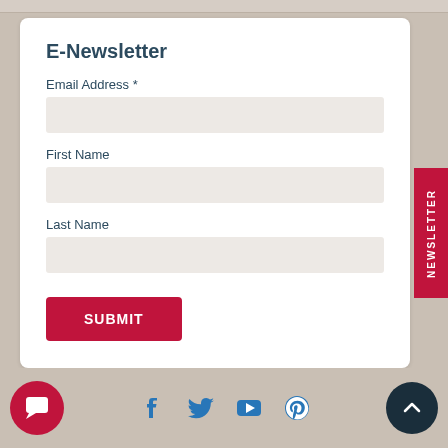E-Newsletter
Email Address *
First Name
Last Name
SUBMIT
NEWSLETTER